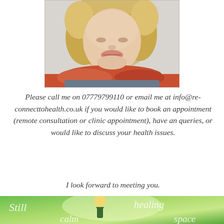[Figure (photo): Close-up portrait photo of a middle-aged blonde woman smiling, wearing an orange/red scarf, with a light background.]
Please call me on 07779799110 or email me at info@re-connecttohealth.co.uk if you would like to book an appointment (remote consultation or clinic appointment), have an queries, or would like to discuss your health issues.
I look forward to meeting you.
[Figure (illustration): Green-toned illustration showing a silhouette of a blonde woman meditating/reading, with text overlaid: 'Still', 'healing', 'calm', 'space' in light green/white italic font on a gradient green background.]